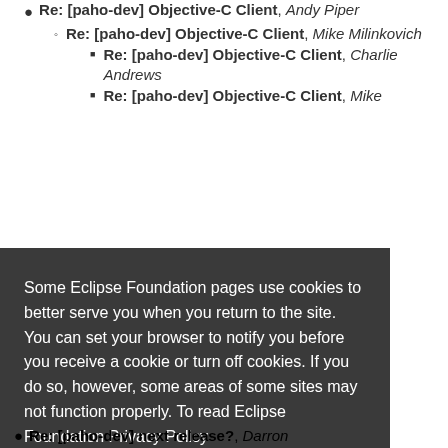Re: [paho-dev] Objective-C Client, Andy Piper
Re: [paho-dev] Objective-C Client, Mike Milinkovich
Re: [paho-dev] Objective-C Client, Charlie Andrews
Re: [paho-dev] Objective-C Client, Mike Milinkovich
Some Eclipse Foundation pages use cookies to better serve you when you return to the site. You can set your browser to notify you before you receive a cookie or turn off cookies. If you do so, however, some areas of some sites may not function properly. To read Eclipse Foundation Privacy Policy click here.
Re: [paho-dev] next release?, Darren